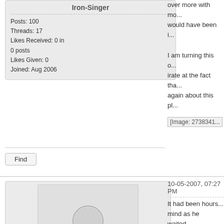Iron-Singer
Posts: 100
Threads: 17
Likes Received: 0 in 0 posts
Likes Given: 0
Joined: Aug 2006
over more with mo... would have been i...
I am turning this o... irate at the fact tha... again about this pl...
[Figure (other): [Image: 2738341...] - broken/placeholder image]
Find
10-05-2007, 07:27 PM
[Figure (photo): Default avatar placeholder - silhouette of a person on grey background]
Zeengo
Iron-Singer
Posts: 81
Threads: 10
Likes Received: 0 in 0 posts
It had been hours... mind as he waited... bothered him. How... him that Amaran fe... cauldron that he h... It snapped violentl... his hands. It bubb...
'Spaya....DIIISPAY...